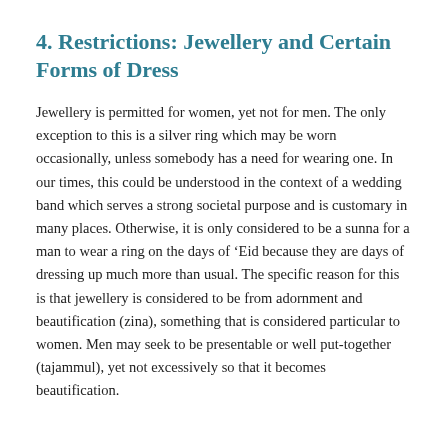4. Restrictions: Jewellery and Certain Forms of Dress
Jewellery is permitted for women, yet not for men. The only exception to this is a silver ring which may be worn occasionally, unless somebody has a need for wearing one. In our times, this could be understood in the context of a wedding band which serves a strong societal purpose and is customary in many places. Otherwise, it is only considered to be a sunna for a man to wear a ring on the days of ‘Eid because they are days of dressing up much more than usual. The specific reason for this is that jewellery is considered to be from adornment and beautification (zina), something that is considered particular to women. Men may seek to be presentable or well put-together (tajammul), yet not excessively so that it becomes beautification.